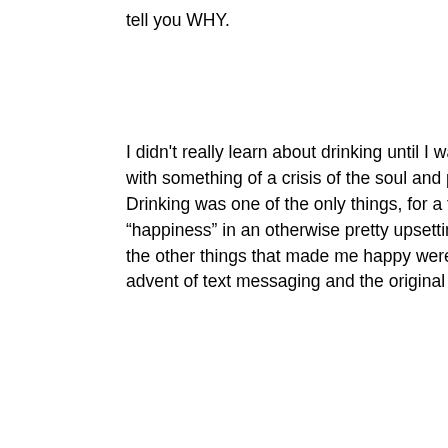tell you WHY.
I didn't really learn about drinking until I was in my mid-to-late with something of a crisis of the soul and pocketbook and ho… Drinking was one of the only things, for a few years, that prov… "happiness" in an otherwise pretty upsetting world. Without g… the other things that made me happy were my kids being silly… advent of text messaging and the original iPhone.
It took me several years, as it does most people when learnin… my limits and at which point alcohol took over all of the decisi… in my life. Of course at the time, if alcohol wasn't deciding the… cruel version of fate calling the shots, so in many cases I was… take over. As I learned to bridle my drink, I also learned to ma… of fate and start calling the shots for myself, and quit being a… of victimized mush.
Since then, I have learned to enjoy wine on most nights, beer… gin on the certain days that just call for whiskey and gin. For t… and decision making have long since parted ways, except fo…